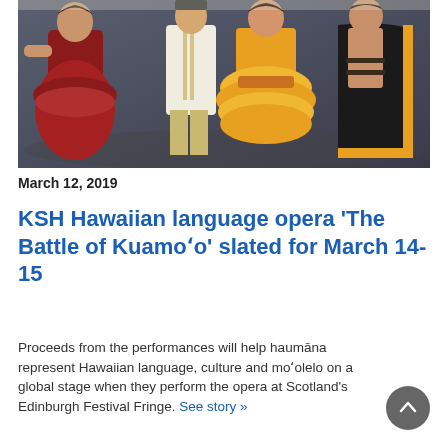[Figure (photo): Group of four performers in Hawaiian cultural costumes on stage — two in red/maroon dresses, one in a white military-style jacket, one in a yellow dress, and one in traditional Hawaiian attire with body paint and a dark cape with yellow border]
March 12, 2019
KSH Hawaiian language opera ‘The Battle of Kuamoʻo’ slated for March 14-15
Proceeds from the performances will help haumāna represent Hawaiian language, culture and moʻolelo on a global stage when they perform the opera at Scotland’s Edinburgh Festival Fringe. See story »